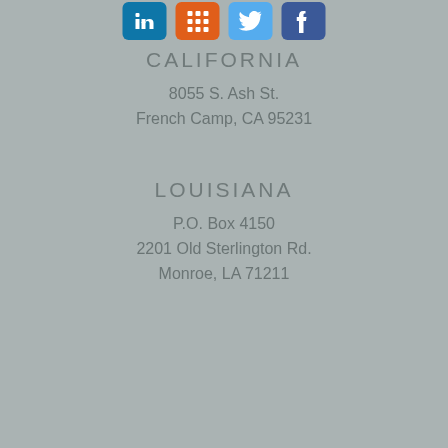[Figure (other): Social media icons row: LinkedIn (blue), orange icon, Twitter (light blue), Facebook (dark blue)]
CALIFORNIA
8055 S. Ash St.
French Camp, CA 95231
LOUISIANA
P.O. Box 4150
2201 Old Sterlington Rd.
Monroe, LA 71211
[Figure (photo): Industrial facility photo showing tanks, equipment and building with company branding]
Can we send you our next blog post?
We'll send you about 3-4 emails a month. Only the best stuff.
Subscribe to the blog